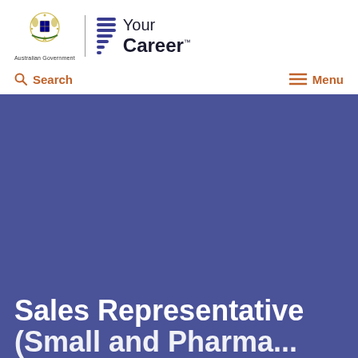Australian Government | Your Career
Search
Menu
Sales Representative (Small and Pharma...